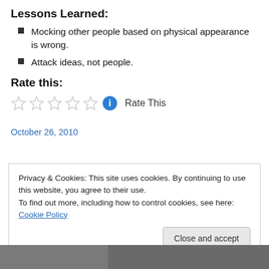Lessons Learned:
Mocking other people based on physical appearance is wrong.
Attack ideas, not people.
Rate this:
[Figure (other): Five empty star rating icons followed by a blue info circle icon and the text 'Rate This']
October 26, 2010
Privacy & Cookies: This site uses cookies. By continuing to use this website, you agree to their use.
To find out more, including how to control cookies, see here: Cookie Policy
[Figure (photo): Partial photo strip at the bottom of the page]